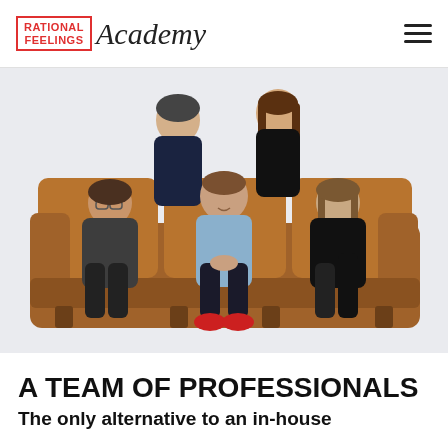RATIONAL FEELINGS Academy
[Figure (photo): Five professionals seated and standing on a brown leather couch against a light grey/white background. Two women stand behind the couch, one in dark navy and one in black. Three people sit on the couch: a woman on the left in dark grey, a man in the center in a light blue shirt with red shoes, and a woman on the right in black.]
A TEAM OF PROFESSIONALS
The only alternative to an in-house